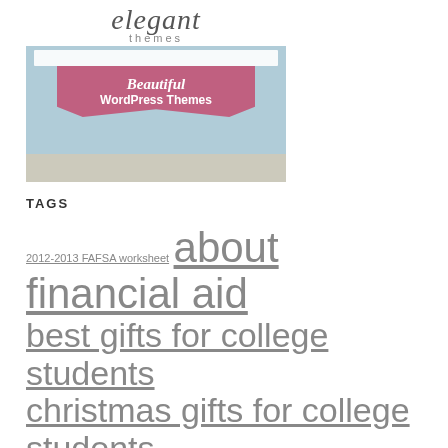[Figure (screenshot): Elegant Themes website screenshot showing 'Beautiful WordPress Themes' banner with a pink ribbon design on a blue background]
TAGS
2012-2013 FAFSA worksheet about financial aid best gifts for college students christmas gifts for college students christmas list for college students christmas list ideas for college students christmas presents for college students college admissions college bucket list college christmas list college financial aid